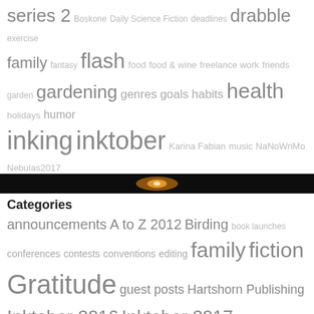series 2 Boskone Daily Science Fiction deadlines drabble exercise family fantasy flash food food & wine freelance work friends garden gardening genres goals habits health holidays humor inking inktober Karina Fabian music NaNoWriMo Nebulas2017 No Excuses photos planning process science fiction short stories Smoke and Drake snow time Time management tropes videos weather women in SF/F yard
[Figure (photo): Dark banner image with a glowing orange light in the center, resembling a sunset or fire glow against a very dark background]
Categories
announcements A to Z 2012 Birding book launches conferences contests conventions editing family fiction Gratitude guest posts Hartshorn Publishing Inktober 2016 Inktober 2017 interviews language Merry-Go-Round Blog Tour metablogging music newsletter organization Personal poetry posts elsewhere